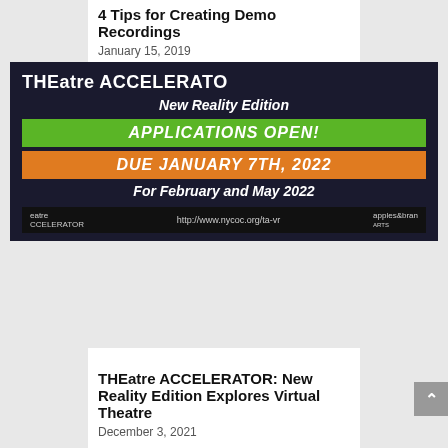4 Tips for Creating Demo Recordings
January 15, 2019
[Figure (photo): THEatre ACCELERATOR New Reality Edition promotional image with Applications Open banner in green, Due January 7TH, 2022 in orange, For February and May 2022 text, and website http://www.nycoc.org/ta-vr]
THEatre ACCELERATOR: New Reality Edition Explores Virtual Theatre
December 3, 2021